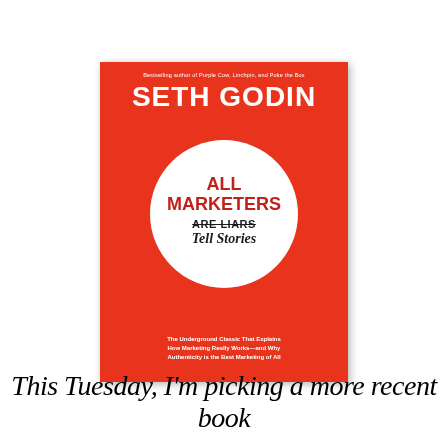[Figure (illustration): Book cover of 'All Marketers Are Liars Tell Stories' by Seth Godin. Red background with white circle in center containing red text 'ALL MARKETERS' and black crossed-out text 'ARE LIARS' with handwritten 'Tell Stories' below. Subtitle: 'The Underground Classic That Explains How Marketing Really Works—and Why Authenticity is the Best Marketing of All'. Top says 'Bestselling author of Purple Cow, Linchpin, and Poke the Box'.]
This Tuesday, I'm picking a more recent book